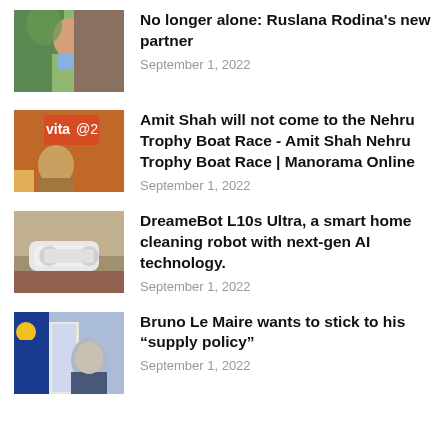[Figure (photo): Thumbnail photo of Ruslana Rodina, a woman in a green jacket]
No longer alone: Ruslana Rodina's new partner
September 1, 2022
[Figure (photo): Thumbnail photo of Amit Shah speaking at a podium]
Amit Shah will not come to the Nehru Trophy Boat Race - Amit Shah Nehru Trophy Boat Race | Manorama Online
September 1, 2022
[Figure (photo): Thumbnail photo of DreameBot L10s Ultra robot vacuum cleaner on a surface]
DreameBot L10s Ultra, a smart home cleaning robot with next-gen AI technology.
September 1, 2022
[Figure (photo): Thumbnail photo of Bruno Le Maire speaking at a podium with EU and French flags]
Bruno Le Maire wants to stick to his “supply policy”
September 1, 2022